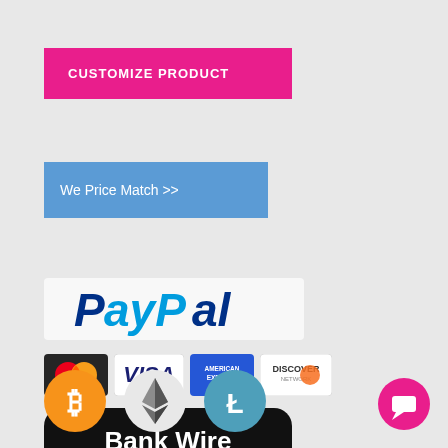[Figure (screenshot): Pink button labeled CUSTOMIZE PRODUCT]
[Figure (screenshot): Blue button labeled We Price Match >>]
[Figure (logo): PayPal logo with blue italic text]
[Figure (logo): Credit card payment icons: MasterCard, VISA, American Express, Discover]
[Figure (logo): Bank Wire Transfer black rounded rectangle badge]
[Figure (logo): Bitcoin, Ethereum, and Litecoin cryptocurrency icons]
[Figure (logo): Pink chat/message button icon in bottom right]